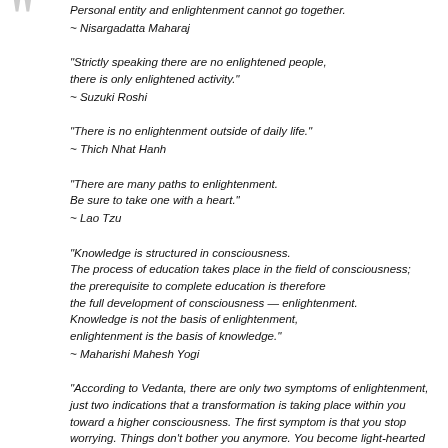[Figure (illustration): Two decorative quotation mark symbols in grey at top left]
Personal entity and enlightenment cannot go together.
~ Nisargadatta Maharaj
"Strictly speaking there are no enlightened people, there is only enlightened activity."
~ Suzuki Roshi
"There is no enlightenment outside of daily life."
~ Thich Nhat Hanh
"There are many paths to enlightenment.
Be sure to take one with a heart."
~ Lao Tzu
"Knowledge is structured in consciousness. The process of education takes place in the field of consciousness; the prerequisite to complete education is therefore the full development of consciousness — enlightenment. Knowledge is not the basis of enlightenment, enlightenment is the basis of knowledge."
~ Maharishi Mahesh Yogi
"According to Vedanta, there are only two symptoms of enlightenment, just two indications that a transformation is taking place within you toward a higher consciousness. The first symptom is that you stop worrying. Things don't bother you anymore. You become light-hearted and full of joy. The second symptom is that you encounter more and more meaningful coincidences in your life, more and more